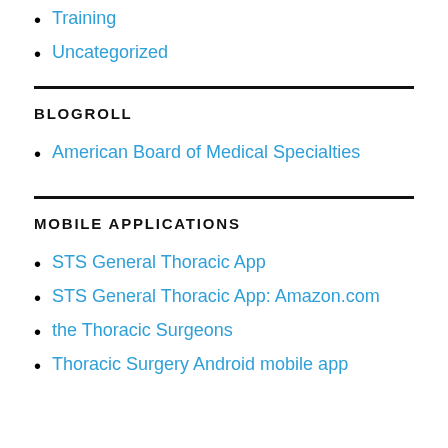Training
Uncategorized
BLOGROLL
American Board of Medical Specialties
MOBILE APPLICATIONS
STS General Thoracic App
STS General Thoracic App: Amazon.com
the Thoracic Surgeons
Thoracic Surgery Android mobile app